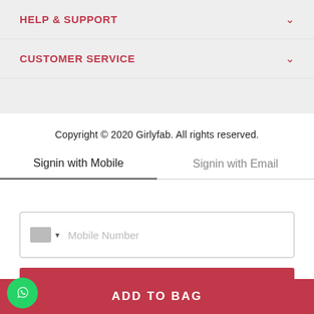HELP & SUPPORT
CUSTOMER SERVICE
Copyright © 2020 Girlyfab. All rights reserved.
Signin with Mobile
Signin with Email
[Figure (screenshot): Mobile number input field with flag dropdown and placeholder text 'Mobile Number']
SEND OTP
ADD TO BAG